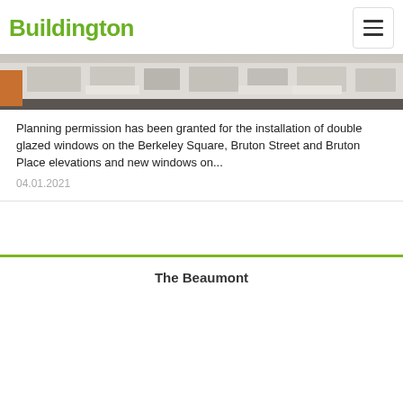Buildington
[Figure (photo): Street-level photo of a commercial building facade with awnings, likely in London. Taken from street level showing storefronts.]
Planning permission has been granted for the installation of double glazed windows on the Berkeley Square, Bruton Street and Bruton Place elevations and new windows on...
04.01.2021
The Beaumont